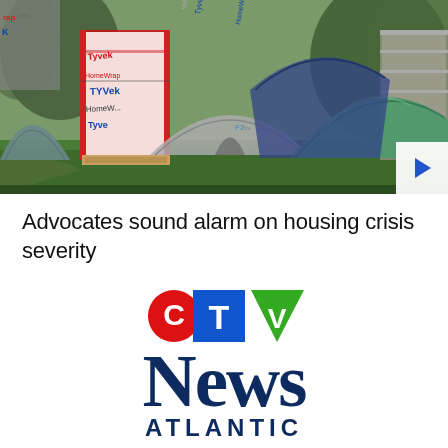[Figure (photo): Outdoor homeless encampment showing multiple tents and a structure wrapped in Tyvek HomePara house wrap material, set on grass with trees in background. A video play button is visible in the lower right corner of the image.]
Advocates sound alarm on housing crisis severity
[Figure (logo): CTV News Atlantic logo. CTV letters displayed with C in red circle, T in blue square, V as green triangle. Below in large dark navy serif font: NEWS. Below that in dark navy sans-serif uppercase tracking: ATLANTIC.]